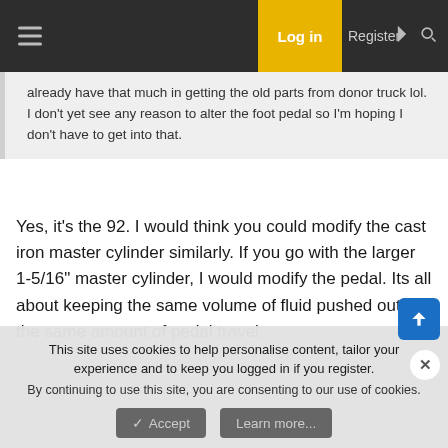Log in  Register
already have that much in getting the old parts from donor truck lol. I don't yet see any reason to alter the foot pedal so I'm hoping I don't have to get into that.
Yes, it's the 92. I would think you could modify the cast iron master cylinder similarly. If you go with the larger 1-5/16" master cylinder, I would modify the pedal. Its all about keeping the same volume of fluid pushed out for the same amount of pedal travel.
That 2 hours didn't include the time I spent rebuilding the Hydro Boost, or shopping for parts, but the actual conversion for me was pretty straight forward.
This site uses cookies to help personalise content, tailor your experience and to keep you logged in if you register.
By continuing to use this site, you are consenting to our use of cookies.